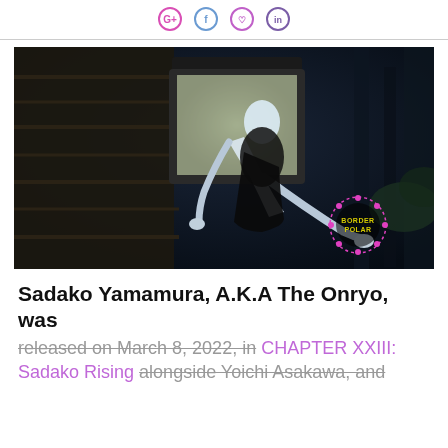[Social media share icons: pink circle, blue circle, purple/pink circle, violet circle]
[Figure (photo): A horror-themed image showing a ghostly pale figure in a white garment bent backwards near a dark television set in a dark forest environment. The figure's long arms and contorted posture evoke a classic J-horror style. A 'BORDERPOLAR' watermark/logo appears in the lower right corner in yellow text with pink dots border.]
Sadako Yamamura, A.K.A The Onryo, was
released on March 8, 2022, in CHAPTER XXIII: Sadako Rising alongside Yoichi Asakawa, and